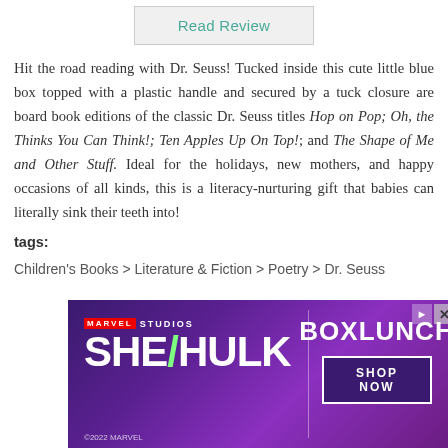Read Review
Hit the road reading with Dr. Seuss! Tucked inside this cute little blue box topped with a plastic handle and secured by a tuck closure are board book editions of the classic Dr. Seuss titles Hop on Pop; Oh, the Thinks You Can Think!; Ten Apples Up On Top!; and The Shape of Me and Other Stuff. Ideal for the holidays, new mothers, and happy occasions of all kinds, this is a literacy-nurturing gift that babies can literally sink their teeth into!
tags:
Children's Books > Literature & Fiction > Poetry > Dr. Seuss
[Figure (screenshot): Marvel Studios She-Hulk advertisement for BoxLunch shop now]